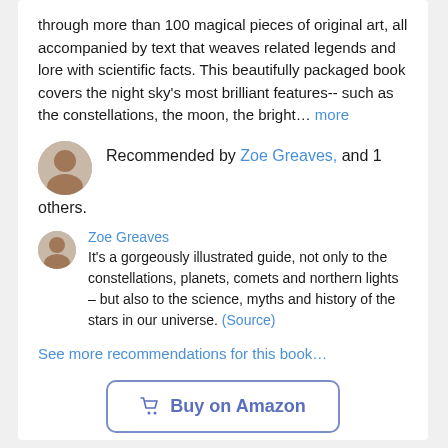through more than 100 magical pieces of original art, all accompanied by text that weaves related legends and lore with scientific facts. This beautifully packaged book covers the night sky's most brilliant features-- such as the constellations, the moon, the bright… more
Recommended by Zoe Greaves, and 1 others.
Zoe Greaves
It's a gorgeously illustrated guide, not only to the constellations, planets, comets and northern lights – but also to the science, myths and history of the stars in our universe. (Source)
See more recommendations for this book…
🛒 Buy on Amazon